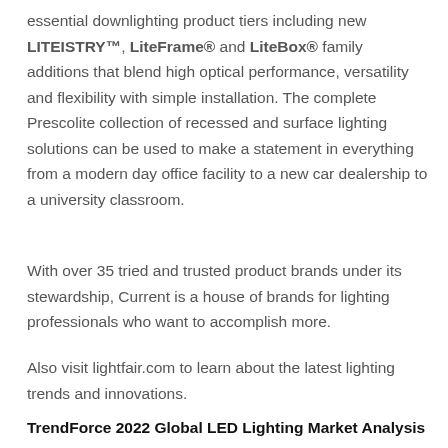essential downlighting product tiers including new LITEISTRY™, LiteFrame® and LiteBox® family additions that blend high optical performance, versatility and flexibility with simple installation. The complete Prescolite collection of recessed and surface lighting solutions can be used to make a statement in everything from a modern day office facility to a new car dealership to a university classroom.
With over 35 tried and trusted product brands under its stewardship, Current is a house of brands for lighting professionals who want to accomplish more.
Also visit lightfair.com to learn about the latest lighting trends and innovations.
TrendForce 2022 Global LED Lighting Market Analysis -